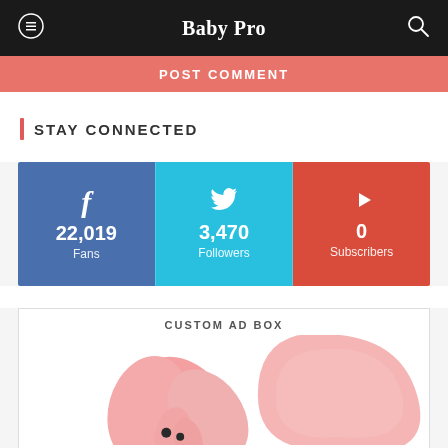Baby Pro
POST COMMENT
STAY CONNECTED
[Figure (infographic): Three social media stat boxes: Facebook 22,019 Fans, Twitter 3,470 Followers, YouTube 0 Subscribers]
CUSTOM AD BOX
[Figure (illustration): Pink floral baby-themed illustration partially visible at bottom]